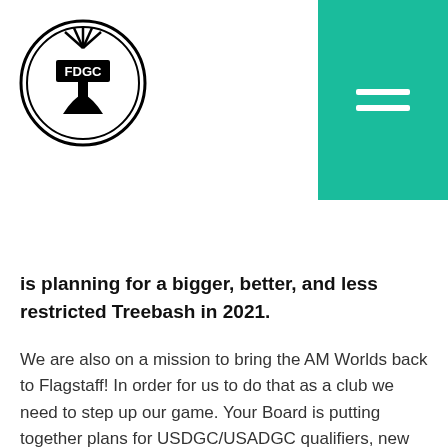[Figure (logo): FDGC disc golf club circular logo with tree and disc design, black and white]
[Figure (other): Teal/turquoise hamburger menu button with two white horizontal bars]
is planning for a bigger, better, and less restricted Treebash in 2021.
We are also on a mission to bring the AM Worlds back to Flagstaff! In order for us to do that as a club we need to step up our game. Your Board is putting together plans for USDGC/USADGC qualifiers, new pop-up courses, as well as new sponsors and support to grow the sport of disc golf in Flagstaff, AZ.
Bag Tags are on their way! We're have them ready to go and